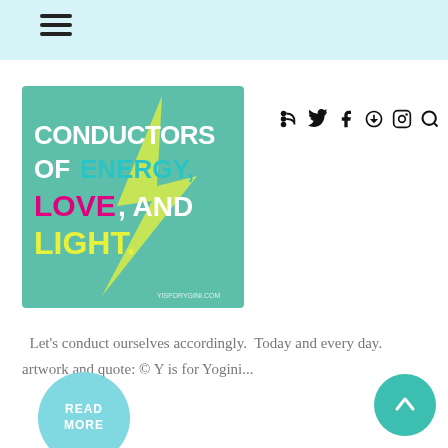Navigation menu icon and social icons (RSS, Twitter, Facebook, Pinterest, Instagram, Search)
[Figure (illustration): Motivational quote image on teal/green background with yellow lightning bolt graphic. Text reads: CONDUCTORS OF ENERGY, LOVE, AND LIGHT. with ENERGY in teal, LOVE in pink/magenta, LIGHT in yellow, rest in white. Small text at bottom: YISFORYGINI.COM]
Let's conduct ourselves accordingly. Today and every day. artwork and quote: © Y is for Yogini...
READ MORE